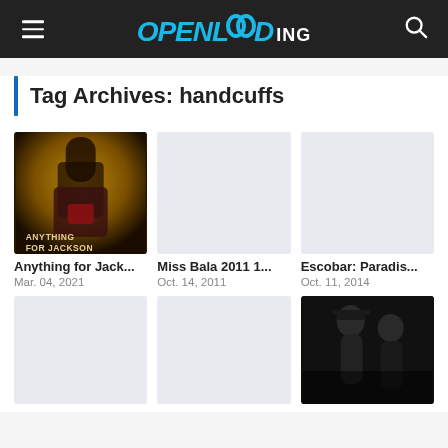OPENLOADING
Tag Archives: handcuffs
[Figure (photo): Movie poster for 'Anything for Jackson' showing figures on a dark golden background with title text at bottom]
Anything for Jack...
Mar. 04, 2021
[Figure (photo): Placeholder grey image for Miss Bala 2011]
Miss Bala 2011 1...
Oct. 14, 2011
[Figure (photo): Placeholder grey image for Escobar: Paradise]
Escobar: Paradis...
Oct. 11, 2014
[Figure (photo): Placeholder grey image (row 2, card 1)]
[Figure (photo): Placeholder grey image (row 2, card 2)]
[Figure (photo): Black and white photo showing two men in dark clothing, one wearing a cap]